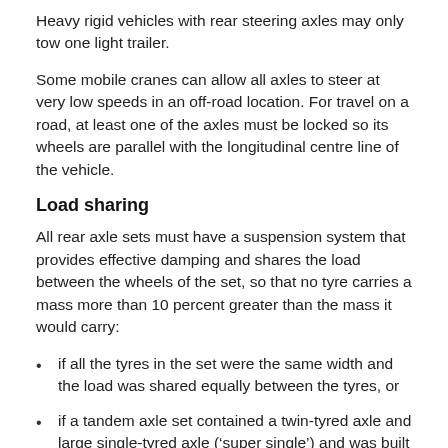Heavy rigid vehicles with rear steering axles may only tow one light trailer.
Some mobile cranes can allow all axles to steer at very low speeds in an off-road location. For travel on a road, at least one of the axles must be locked so its wheels are parallel with the longitudinal centre line of the vehicle.
Load sharing
All rear axle sets must have a suspension system that provides effective damping and shares the load between the wheels of the set, so that no tyre carries a mass more than 10 percent greater than the mass it would carry:
if all the tyres in the set were the same width and the load was shared equally between the tyres, or
if a tandem axle set contained a twin-tyred axle and large single-tyred axle (‘super single’) and was built to divide the load between the tyres in the set in either the 60